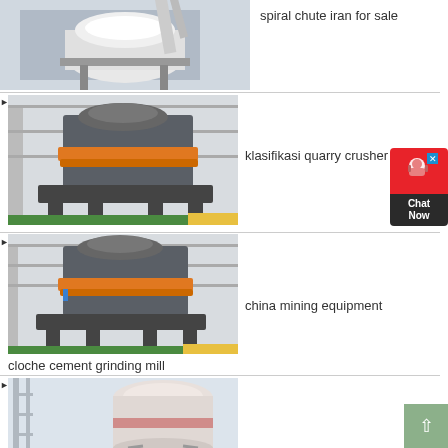[Figure (photo): Industrial spiral chute machine in a factory setting]
spiral chute iran for sale
[Figure (photo): Industrial quarry crusher machine (gray with orange band) in factory]
klasifikasi quarry crusher
[Figure (photo): Industrial mining equipment crusher (gray with orange band) in factory]
china mining equipment
cloche cement grinding mill
[Figure (photo): Industrial grinding mill equipment, partially visible at bottom of page]